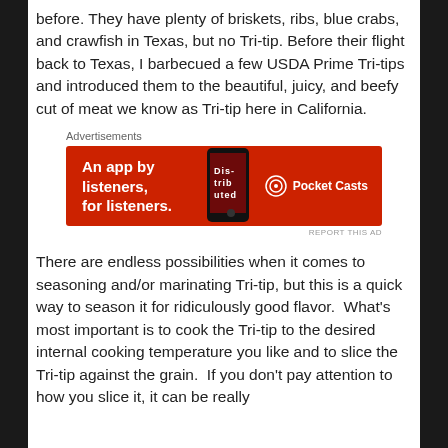before. They have plenty of briskets, ribs, blue crabs, and crawfish in Texas, but no Tri-tip. Before their flight back to Texas, I barbecued a few USDA Prime Tri-tips and introduced them to the beautiful, juicy, and beefy cut of meat we know as Tri-tip here in California.
Advertisements
[Figure (screenshot): Pocket Casts advertisement banner with red background. Left side shows bold white text: 'An app by listeners, for listeners.' Center shows a phone with app interface. Right side shows Pocket Casts logo and name in white.]
There are endless possibilities when it comes to seasoning and/or marinating Tri-tip, but this is a quick way to season it for ridiculously good flavor. What's most important is to cook the Tri-tip to the desired internal cooking temperature you like and to slice the Tri-tip against the grain. If you don't pay attention to how you slice it, it can be really